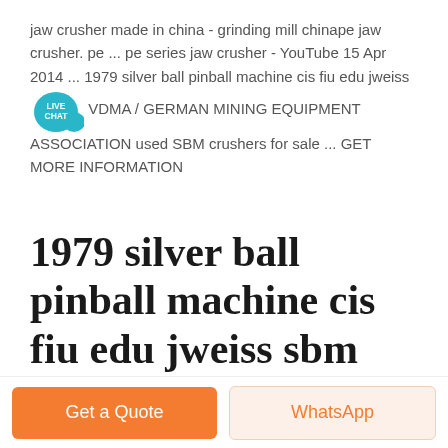jaw crusher made in china - grinding mill chinape jaw crusher. pe ... pe series jaw crusher - YouTube 15 Apr 2014 ... 1979 silver ball pinball machine cis fiu edu jweiss LIVE CHAT VDMA / GERMAN MINING EQUIPMENT ASSOCIATION used SBM crushers for sale ... GET MORE INFORMATION
1979 silver ball pinball machine cis fiu edu jweiss sbm
[Figure (photo): Photo showing a blue sky with clouds and a red ball/sphere partially visible in the bottom right corner.]
Get a Quote
WhatsApp